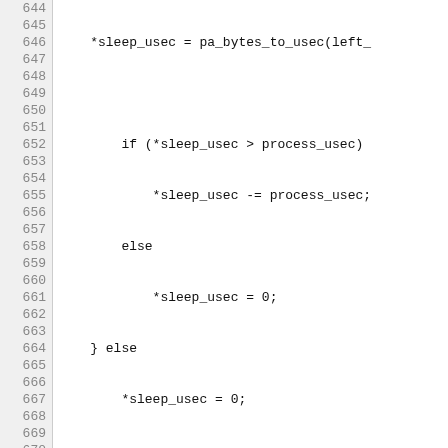Source code listing lines 644-674, showing C code for pa_pulseaudio unix_write function with sleep_usec logic, work_done return, and for loop with snd_pcm_sframes_t.